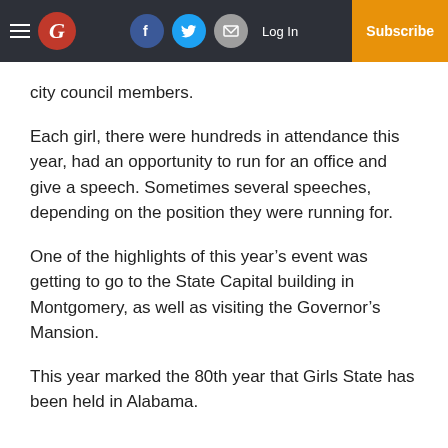Navigation bar with hamburger menu, G logo, social icons (Facebook, Twitter, Email), Log In, Subscribe
city council members.
Each girl, there were hundreds in attendance this year, had an opportunity to run for an office and give a speech. Sometimes several speeches, depending on the position they were running for.
One of the highlights of this year’s event was getting to go to the State Capital building in Montgomery, as well as visiting the Governor’s Mansion.
This year marked the 80th year that Girls State has been held in Alabama.